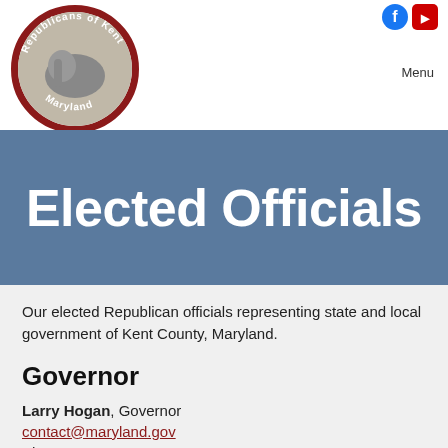[Figure (logo): Republicans of Kent Maryland circular logo with elephant]
Menu
Elected Officials
Our elected Republican officials representing state and local government of Kent County, Maryland.
Governor
Larry Hogan, Governor
contact@maryland.gov
Phone: 410-974-3400
Boyd Rutherford, Lieutenant Governor
lt.governor@maryland.gov
Phone: 410-752-9700